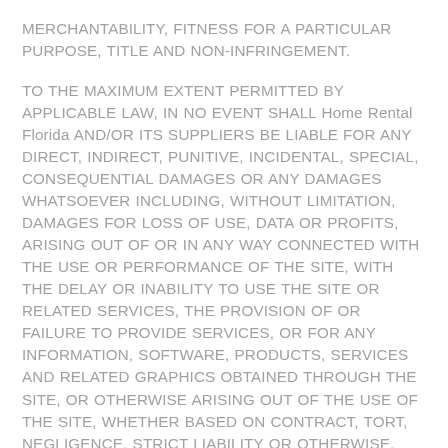MERCHANTABILITY, FITNESS FOR A PARTICULAR PURPOSE, TITLE AND NON-INFRINGEMENT.
TO THE MAXIMUM EXTENT PERMITTED BY APPLICABLE LAW, IN NO EVENT SHALL Home Rental Florida AND/OR ITS SUPPLIERS BE LIABLE FOR ANY DIRECT, INDIRECT, PUNITIVE, INCIDENTAL, SPECIAL, CONSEQUENTIAL DAMAGES OR ANY DAMAGES WHATSOEVER INCLUDING, WITHOUT LIMITATION, DAMAGES FOR LOSS OF USE, DATA OR PROFITS, ARISING OUT OF OR IN ANY WAY CONNECTED WITH THE USE OR PERFORMANCE OF THE SITE, WITH THE DELAY OR INABILITY TO USE THE SITE OR RELATED SERVICES, THE PROVISION OF OR FAILURE TO PROVIDE SERVICES, OR FOR ANY INFORMATION, SOFTWARE, PRODUCTS, SERVICES AND RELATED GRAPHICS OBTAINED THROUGH THE SITE, OR OTHERWISE ARISING OUT OF THE USE OF THE SITE, WHETHER BASED ON CONTRACT, TORT, NEGLIGENCE, STRICT LIABILITY OR OTHERWISE, EVEN IF Home Rental Florida OR ANY OF ITS SUPPLIERS HAS BEEN